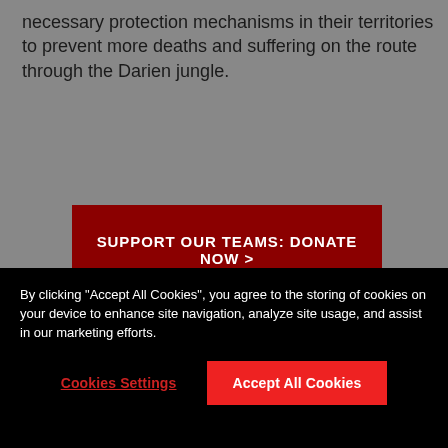necessary protection mechanisms in their territories to prevent more deaths and suffering on the route through the Darien jungle.
[Figure (other): Dark red button with text 'SUPPORT OUR TEAMS: DONATE NOW >' on a grey background]
By clicking "Accept All Cookies", you agree to the storing of cookies on your device to enhance site navigation, analyze site usage, and assist in our marketing efforts.
Cookies Settings | Accept All Cookies